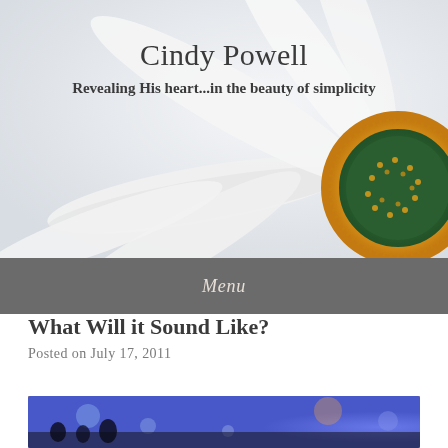[Figure (photo): Close-up photo of a white daisy flower with yellow and green center, on a light background, used as website header image]
Cindy Powell
Revealing His heart...in the beauty of simplicity
Menu
What Will it Sound Like?
Posted on July 17, 2011
[Figure (photo): Partial view of a blurred concert or event scene with colorful lights]